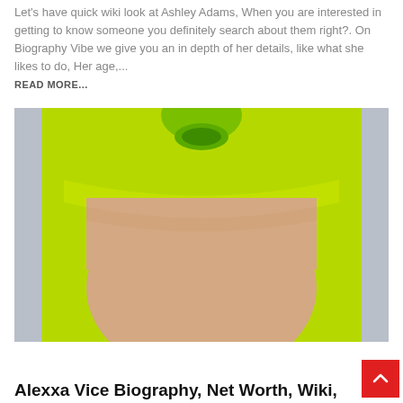Let's have quick wiki look at Ashley Adams, When you are interested in getting to know someone you definitely search about them right?. On Biography Vibe we give you an in depth of her details, like what she likes to do, Her age,...
READ MORE...
[Figure (photo): Close-up portrait photo of a person with bright neon green/yellow hair pulled up in a ponytail with bangs, against a grey-blue background, photo cropped at forehead level.]
Alexxa Vice Biography, Net Worth, Wiki, And More Here...